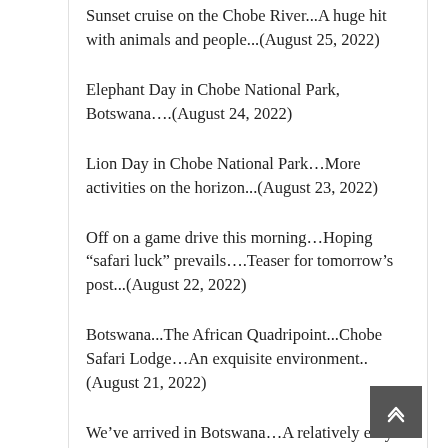Sunset cruise on the Chobe River...A huge hit with animals and people...(August 25, 2022)
Elephant Day in Chobe National Park, Botswana….(August 24, 2022)
Lion Day in Chobe National Park…More activities on the horizon...(August 23, 2022)
Off on a game drive this morning…Hoping “safari luck” prevails….Teaser for tomorrow’s post...(August 22, 2022)
Botswana...The African Quadripoint...Chobe Safari Lodge…An exquisite environment..(August 21, 2022)
We’ve arrived in Botswana…A relatively easy travel day…(August 20, 2022)